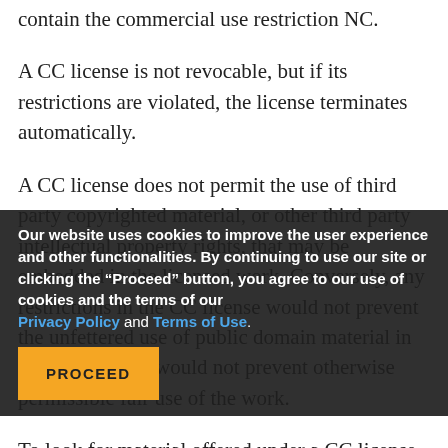contain the commercial use restriction NC.
A CC license is not revocable, but if its restrictions are violated, the license terminates automatically.
A CC license does not permit the use of third party copyrighted material, or other third party intellectual property rights, that may be embedded in the licensed work. Conversely, any restrictions in the CC license would not prevent the unfettered use of public domain material in the work, and it would not prevent otherwise permissible fair use of the work.
Our website uses cookies to improve the user experience and other functionalities. By continuing to use our site or clicking the “Proceed” button, you agree to our use of cookies and the terms of our Privacy Policy and Terms of Use.
To look for material offered under a CC license, the CC Search function and a directory of copyright owners who use CC licenses. Some social media sites also have search filters for CC licensed